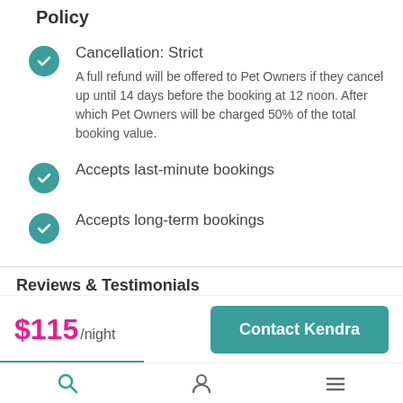Policy
Cancellation: Strict
A full refund will be offered to Pet Owners if they cancel up until 14 days before the booking at 12 noon. After which Pet Owners will be charged 50% of the total booking value.
Accepts last-minute bookings
Accepts long-term bookings
Reviews & Testimonials
$115/night
Contact Kendra